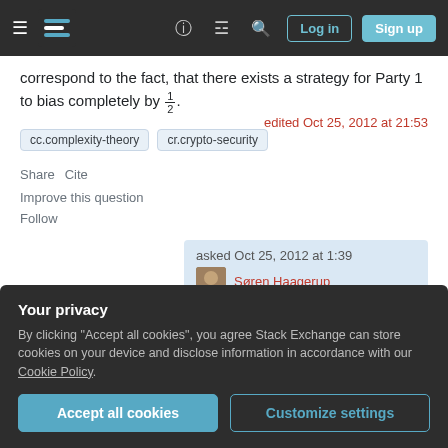[Figure (screenshot): Stack Exchange navigation bar with hamburger menu, logo, help icon, chat icon, search icon, Log in and Sign up buttons]
correspond to the fact, that there exists a strategy for Party 1 to bias completely by 1/2.
cc.complexity-theory
cr.crypto-security
Share   Cite
edited Oct 25, 2012 at 21:53
Improve this question
Follow
asked Oct 25, 2012 at 1:39
Søren Haagerup
Your privacy
By clicking "Accept all cookies", you agree Stack Exchange can store cookies on your device and disclose information in accordance with our Cookie Policy.
Accept all cookies
Customize settings
interesting to ask if there    exists a PPT uniform